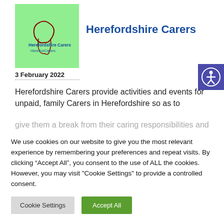[Figure (logo): Herefordshire Carers logo on green background with person/figure graphic and text 'Herefordshire Carers HereForCarers']
Herefordshire Carers
3 February 2022
[Figure (illustration): Accessibility icon - person in circle on purple/indigo square button]
Herefordshire Carers provide activities and events for unpaid, family Carers in Herefordshire so as to
We use cookies on our website to give you the most relevant experience by remembering your preferences and repeat visits. By clicking “Accept All”, you consent to the use of ALL the cookies. However, you may visit "Cookie Settings" to provide a controlled consent.